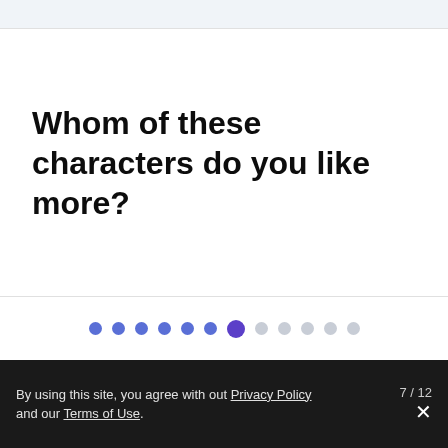Whom of these characters do you like more?
[Figure (infographic): Pagination dots: 12 dots total, first 6 filled blue/indigo, 7th dot is larger and purple (active/current), dots 8-12 are light grey (inactive)]
7 / 12
By using this site, you agree with out Privacy Policy and our Terms of Use.